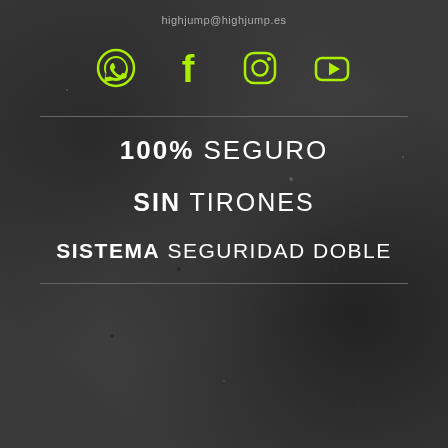highjump@highjump.es
[Figure (illustration): Four social media icons in lime/yellow-green color: WhatsApp, Facebook, Instagram, YouTube]
100% SEGURO
SIN TIRONES
SISTEMA SEGURIDAD DOBLE